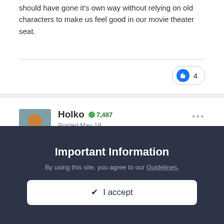should have gone it's own way without relying on old characters to make us feel good in our movie theater seat.
4
Holko  7,487
Posted May 18
Luke's good where he is, in the final steps of the hero's journey that movies often forget.
Important Information
By using this site, you agree to our Guidelines.
✔ I accept